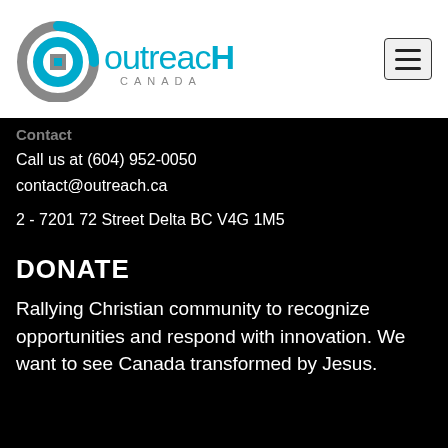[Figure (logo): Outreach Canada logo with circular icon and text 'outreacH CANADA']
Contact
Call us at (604) 952-0050
contact@outreach.ca

2 - 7201 72 Street Delta BC V4G 1M5
DONATE
Rallying Christian community to recognize opportunities and respond with innovation. We want to see Canada transformed by Jesus.